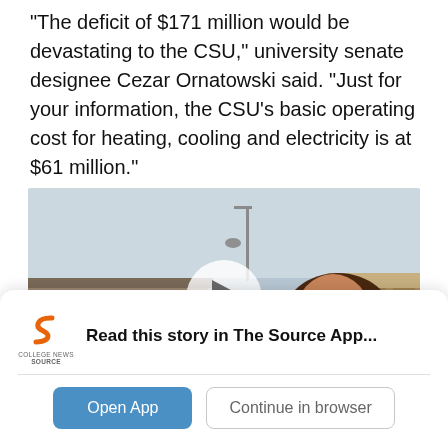“The deficit of $171 million would be devastating to the CSU,” university senate designee Cezar Ornatowski said. “Just for your information, the CSU’s basic operating cost for heating, cooling and electricity is at $61 million.”
[Figure (photo): A woman smiling outdoors in front of industrial buildings, with a street lamp visible in the background. A circular play button overlay is centered on the image, indicating a video.]
Read this story in The Source App...
Open App
Continue in browser